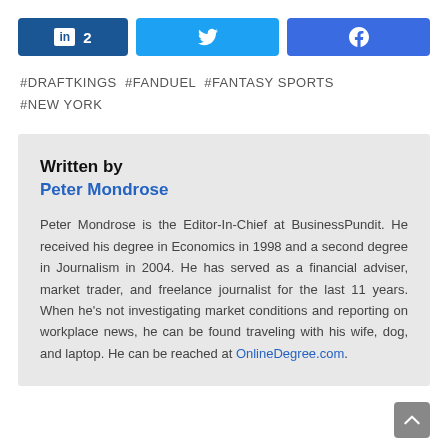[Figure (other): Social share buttons: LinkedIn with count 2, Twitter, Facebook]
#DRAFTKINGS #FANDUEL #FANTASY SPORTS #NEW YORK
Written by
Peter Mondrose

Peter Mondrose is the Editor-In-Chief at BusinessPundit. He received his degree in Economics in 1998 and a second degree in Journalism in 2004. He has served as a financial adviser, market trader, and freelance journalist for the last 11 years. When he's not investigating market conditions and reporting on workplace news, he can be found traveling with his wife, dog, and laptop. He can be reached at OnlineDegree.com.